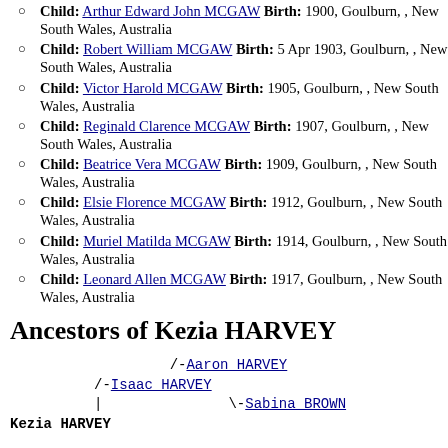Child: Arthur Edward John MCGAW Birth: 1900, Goulburn, , New South Wales, Australia
Child: Robert William MCGAW Birth: 5 Apr 1903, Goulburn, , New South Wales, Australia
Child: Victor Harold MCGAW Birth: 1905, Goulburn, , New South Wales, Australia
Child: Reginald Clarence MCGAW Birth: 1907, Goulburn, , New South Wales, Australia
Child: Beatrice Vera MCGAW Birth: 1909, Goulburn, , New South Wales, Australia
Child: Elsie Florence MCGAW Birth: 1912, Goulburn, , New South Wales, Australia
Child: Muriel Matilda MCGAW Birth: 1914, Goulburn, , New South Wales, Australia
Child: Leonard Allen MCGAW Birth: 1917, Goulburn, , New South Wales, Australia
Ancestors of Kezia HARVEY
/-Aaron HARVEY
/-Isaac HARVEY
|               \-Sabina BROWN
Kezia HARVEY